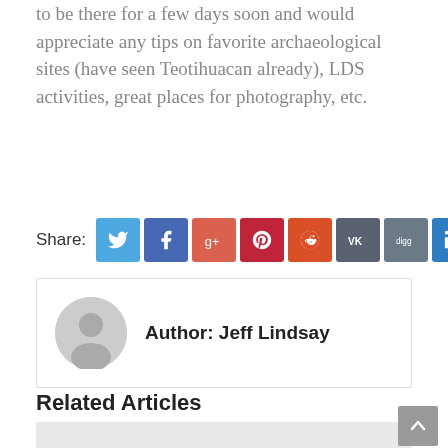to be there for a few days soon and would appreciate any tips on favorite archaeological sites (have seen Teotihuacan already), LDS activities, great places for photography, etc.
Share:
[Figure (other): Social share buttons: Twitter, Facebook, Google+, Pinterest, Reddit, VK, Digg, LinkedIn, Flipboard]
Author: Jeff Lindsay
Related Articles
[Figure (photo): Related article image placeholder (gray box)]